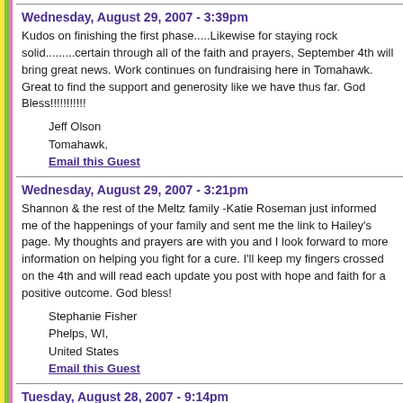Wednesday, August 29, 2007 - 3:39pm
Kudos on finishing the first phase.....Likewise for staying rock solid.........certain through all of the faith and prayers, September 4th will bring great news. Work continues on fundraising here in Tomahawk. Great to find the support and generosity like we have thus far. God Bless!!!!!!!!!!!
Jeff Olson
Tomahawk,
Email this Guest
Wednesday, August 29, 2007 - 3:21pm
Shannon & the rest of the Meltz family -Katie Roseman just informed me of the happenings of your family and sent me the link to Hailey's page. My thoughts and prayers are with you and I look forward to more information on helping you fight for a cure. I'll keep my fingers crossed on the 4th and will read each update you post with hope and faith for a positive outcome. God bless!
Stephanie Fisher
Phelps, WI,
United States
Email this Guest
Tuesday, August 28, 2007 - 9:14pm
tumor-SHRINK! SHRINK!